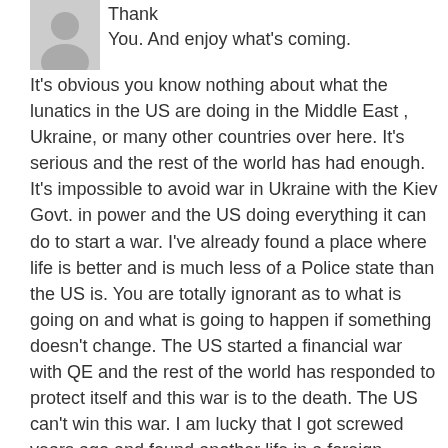Thank You. And enjoy what's coming.
It's obvious you know nothing about what the lunatics in the US are doing in the Middle East , Ukraine, or many other countries over here. It's serious and the rest of the world has had enough. It's impossible to avoid war in Ukraine with the Kiev Govt. in power and the US doing everything it can do to start a war. I've already found a place where life is better and is much less of a Police state than the US is. You are totally ignorant as to what is going on and what is going to happen if something doesn't change. The US started a financial war with QE and the rest of the world has responded to protect itself and this war is to the death. The US can't win this war. I am lucky that I got screwed years ago and found another life in a foreign country. All my $'s are converted to rubles and invested at 19%.